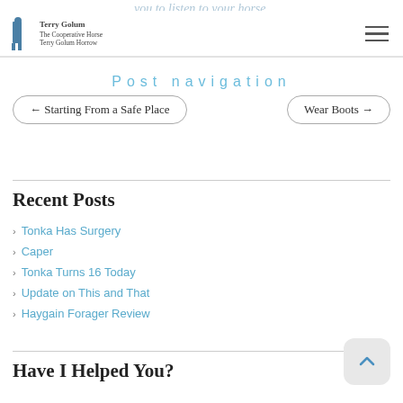Terry Golum | The Cooperative Horse | Terry Golum Horrow
you to listen to your horse.
Post navigation
← Starting From a Safe Place
Wear Boots →
Recent Posts
Tonka Has Surgery
Caper
Tonka Turns 16 Today
Update on This and That
Haygain Forager Review
Have I Helped You?